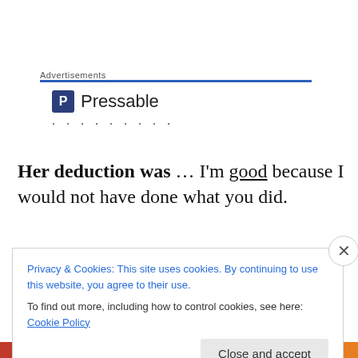Advertisements
[Figure (logo): Pressable logo with blue square icon containing letter P and the word Pressable, followed by a row of dots]
Her deduction was … I'm good because I would not have done what you did.
So many Christian people judge their goodness on the basis of someone else's errors of judgment. It's the sea
Privacy & Cookies: This site uses cookies. By continuing to use this website, you agree to their use.
To find out more, including how to control cookies, see here: Cookie Policy
Close and accept